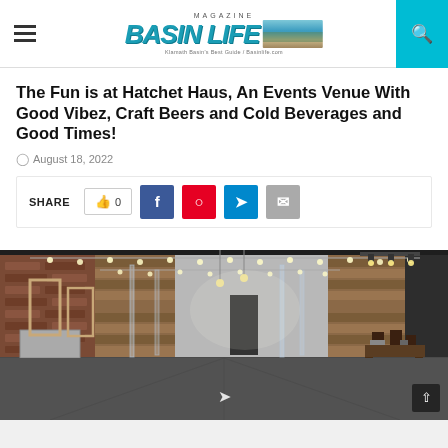BASIN LIFE MAGAZINE — Klamath Basin's Best Guide / Basinlife.com
The Fun is at Hatchet Haus, An Events Venue With Good Vibez, Craft Beers and Cold Beverages and Good Times!
August 18, 2022
SHARE  0  [Facebook] [Pinterest] [Telegram] [Email]
[Figure (photo): Interior of Hatchet Haus events venue showing rustic reclaimed wood wall panels, string lights, large open space with concrete floors, tables and chairs visible on the right side, dark ceiling with track lighting.]